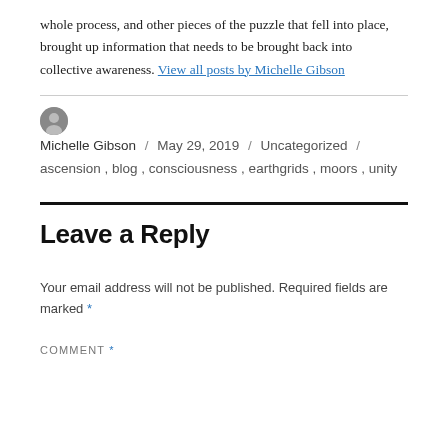whole process, and other pieces of the puzzle that fell into place, brought up information that needs to be brought back into collective awareness. View all posts by Michelle Gibson
Michelle Gibson / May 29, 2019 / Uncategorized / ascension, blog, consciousness, earthgrids, moors, unity
Leave a Reply
Your email address will not be published. Required fields are marked *
COMMENT *